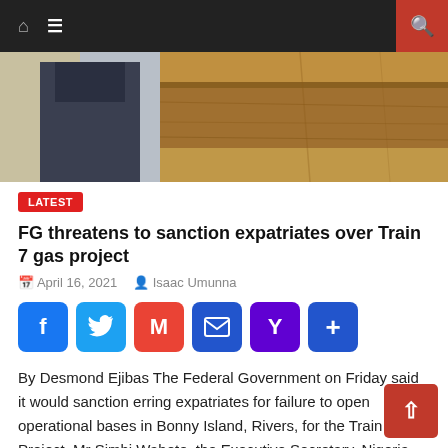Navigation bar with home icon, menu icon, and search button
[Figure (photo): A person in a dark suit standing at a wooden podium or desk, photo cropped showing torso and the wooden furniture.]
LATEST
FG threatens to sanction expatriates over Train 7 gas project
April 16, 2021  Isaac Umunna
[Figure (infographic): Social share buttons: Facebook, Twitter, Gmail, Email, Yahoo, More (+)]
By Desmond Ejibas The Federal Government on Friday said it would sanction erring expatriates for failure to open operational bases in Bonny Island, Rivers, for the Train 7 Gas Project. Mr Simbi Wabote, the Executive Secretary, Nigeria Content Development and Monitoring Board (NCDMB) gave the warning at the formal opening of Th Promise Fast Food [...]